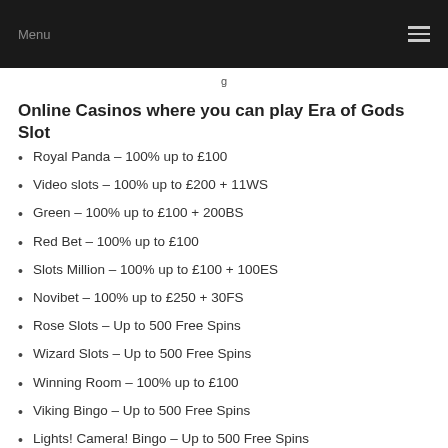Menu
g
Online Casinos where you can play Era of Gods Slot
Royal Panda – 100% up to £100
Video slots – 100% up to £200 + 11WS
Green – 100% up to £100 + 200BS
Red Bet – 100% up to £100
Slots Million – 100% up to £100 + 100ES
Novibet – 100% up to £250 + 30FS
Rose Slots – Up to 500 Free Spins
Wizard Slots – Up to 500 Free Spins
Winning Room – 100% up to £100
Viking Bingo – Up to 500 Free Spins
Lights! Camera! Bingo – Up to 500 Free Spins
Lady Love Bingo – Up to 500 Free Spins